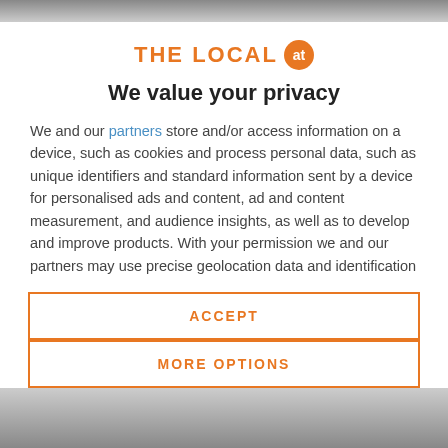THE LOCAL at — We value your privacy
We and our partners store and/or access information on a device, such as cookies and process personal data, such as unique identifiers and standard information sent by a device for personalised ads and content, ad and content measurement, and audience insights, as well as to develop and improve products. With your permission we and our partners may use precise geolocation data and identification through device scanning. You may click to consent to our and our partners' processing as described above. Alternatively you may access more detailed information and change your preferences before consenting
ACCEPT
MORE OPTIONS